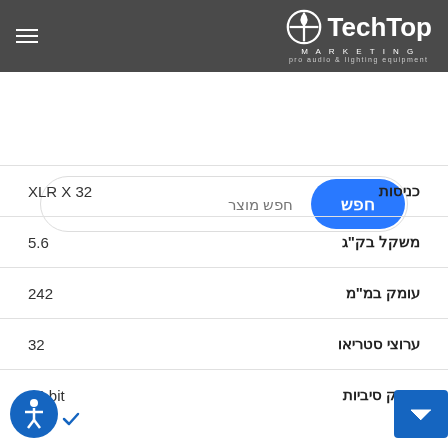TechTop Marketing – Pro Audio & Lighting equipment
חפש מוצר
| כניסות | XLR X 32 |
| --- | --- |
| כניסות | XLR X 32 |
| משקל בק"ג | 5.6 |
| עומק במ"מ | 242 |
| ערוצי סטריאו | 32 |
| עומק סיביות | 24 bit |